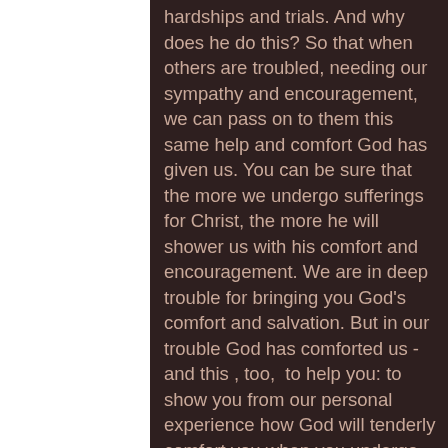hardships and trials. And why does he do this? So that when others are troubled, needing our sympathy and encouragement, we can pass on to them this same help and comfort God has given us. You can be sure that the more we undergo sufferings for Christ, the more he will shower us with his comfort and encouragement. We are in deep trouble for bringing you God's comfort and salvation. But in our trouble God has comforted us - and this , too,  to help you: to show you from our personal experience how God will tenderly comfort you when you undergo these same sufferings. He will give you the strength to endure. 2 Corinthians 1: 3-7 (TLB)